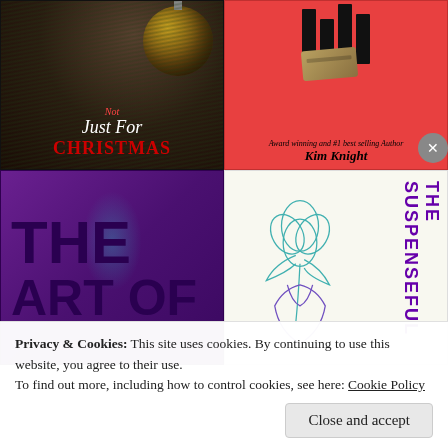[Figure (illustration): Book cover grid with 4 book covers: 'Not Just For Christmas' (dark Christmas background), a Kim Knight book cover (red with money clip illustration), 'The Art Of' (purple background), and 'The Suspenseful' (white with flower illustration). Overlaid by a cookie consent banner.]
Privacy & Cookies: This site uses cookies. By continuing to use this website, you agree to their use.
To find out more, including how to control cookies, see here: Cookie Policy
Close and accept